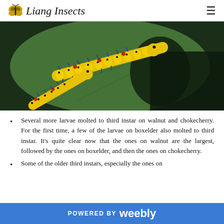Liang Insects
[Figure (photo): Close-up photograph of yellow caterpillars with red and black spots crawling on a green leaf]
Several more larvae molted to third instar on walnut and chokecherry. For the first time, a few of the larvae on boxelder also molted to third instar. It's quite clear now that the ones on walnut are the largest, followed by the ones on boxelder, and then the ones on chokecherry.
Some of the older third instars, especially the ones on
POWERED BY weebly